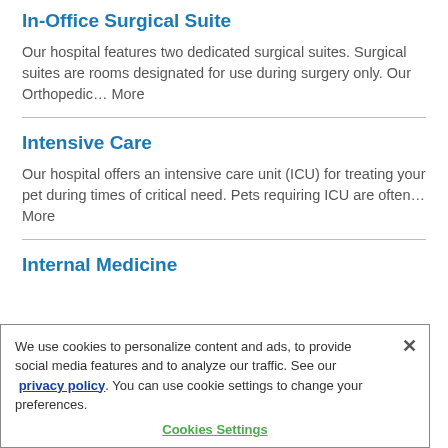In-Office Surgical Suite
Our hospital features two dedicated surgical suites. Surgical suites are rooms designated for use during surgery only. Our Orthopedic… More
Intensive Care
Our hospital offers an intensive care unit (ICU) for treating your pet during times of critical need. Pets requiring ICU are often… More
Internal Medicine
We use cookies to personalize content and ads, to provide social media features and to analyze our traffic. See our  privacy policy. You can use cookie settings to change your preferences.